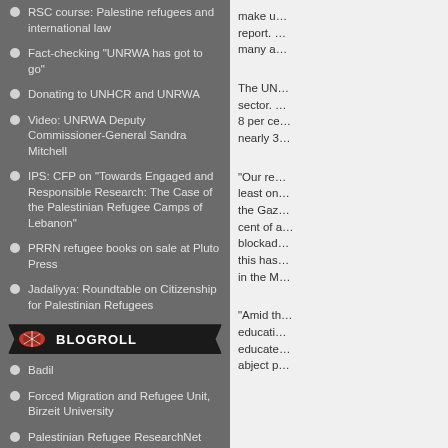RSC course: Palestine refugees and international law
Fact-checking "UNRWA has got to go"
Donating to UNHCR and UNRWA
Video: UNRWA Deputy Commissioner-General Sandra Mitchell
IPS: CFP on "Towards Engaged and Responsible Research: The Case of the Palestinian Refugee Camps of Lebanon"
PRRN refugee books on sale at Pluto Press
Jadaliyya: Roundtable on Citizenship for Palestinian Refugees
BLOGROLL
Badil
Forced Migration and Refugee Unit, Birzeit University
Palestinian Refugee ResearchNet
UNRWA
TOP POSTS
AUC: International protection regime and Palestine refugees
make u… report. … many a…
The UN… sector. … 8 per ce… nearly 3…
"Our res… least on… the Gaz… cent of a… blockad… this has… in the M…
"Amid th… educati… educate… abject p…